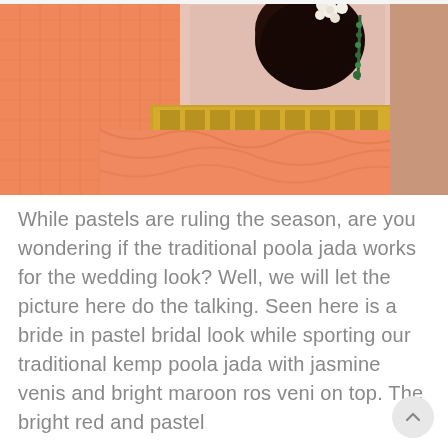[Figure (photo): A bride wearing an orange/peach saree with a gold belt, dark hair styled up with white flowers and green beaded jewelry, viewed from behind/side. Traditional Indian bridal look.]
While pastels are ruling the season, are you wondering if the traditional poola jada works for the wedding look? Well, we will let the picture here do the talking. Seen here is a bride in pastel bridal look while sporting our traditional kemp poola jada with jasmine venis and bright maroon ros veni on top. The bright red and pastel